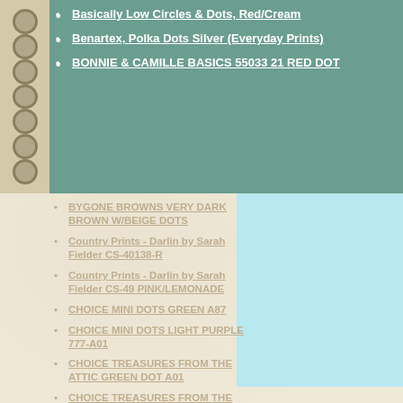Basically Low Circles & Dots, Red/Cream
Benartex, Polka Dots Silver (Everyday Prints)
BONNIE & CAMILLE BASICS 55033 21 RED DOT
BYGONE BROWNS VERY DARK BROWN W/BEIGE DOTS
Country Prints - Darlin by Sarah Fielder CS-40138-R
Country Prints - Darlin by Sarah Fielder CS-49 PINK/LEMONADE
CHOICE MINI DOTS GREEN A87
CHOICE MINI DOTS LIGHT PURPLE 777-A01
CHOICE TREASURES FROM THE ATTIC GREEN DOT A01
CHOICE TREASURES FROM THE ATTIC PURPLE DOT A01
CIRCUS DOTS ORANGE CREAM PINK AND BLUE DOTS 5310-80
CIRCLE DOTS PINK LEMONADE YELLOW & BLUE DOTS ON WHITE 5310-1
By Choice Fabrics; 100%